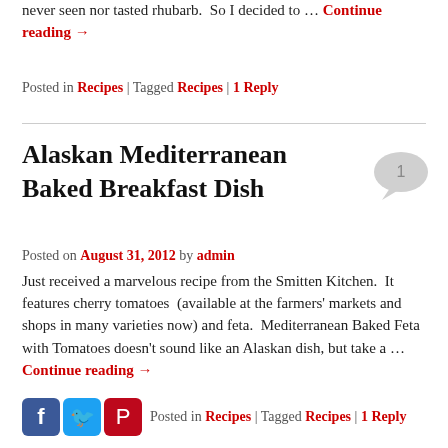never seen nor tasted rhubarb.  So I decided to … Continue reading →
Posted in Recipes | Tagged Recipes | 1 Reply
Alaskan Mediterranean Baked Breakfast Dish
Posted on August 31, 2012 by admin
Just received a marvelous recipe from the Smitten Kitchen.  It features cherry tomatoes  (available at the farmers' markets and shops in many varieties now) and feta.  Mediterranean Baked Feta with Tomatoes doesn't sound like an Alaskan dish, but take a … Continue reading →
Posted in Recipes | Tagged Recipes | 1 Reply